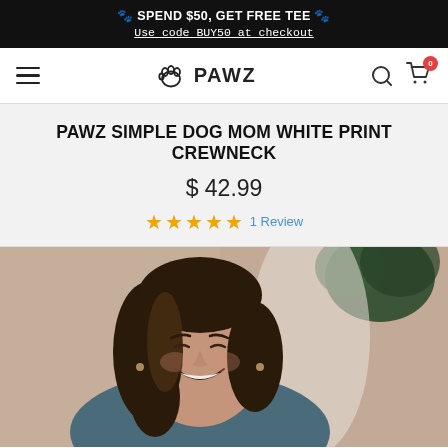🐾 SPEND $50, GET FREE TEE 🐾
Use code BUY50 at checkout
[Figure (logo): PAWZ brand logo with paw print icon and text PAWZ, along with hamburger menu, search and cart icons in navigation bar]
PAWZ SIMPLE DOG MOM WHITE PRINT CREWNECK
$ 42.99
★★★★★  1 Review
[Figure (photo): A smiling brunette woman wearing a dark blue crewneck sweatshirt, photographed outdoors with a blurred background including greenery and a light fabric.]